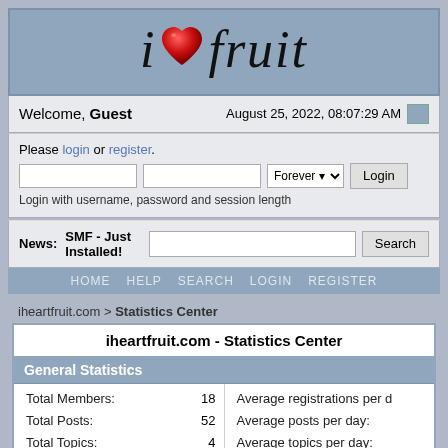[Figure (logo): iheartfruit logo with red heart icon replacing the letter 'heart' in stylized serif italic text]
Welcome, Guest    August 25, 2022, 08:07:29 AM
Please login or register.
Login with username, password and session length
News: SMF - Just Installed!
HOME   HELP   SEARCH   LOGIN   REGISTER
iheartfruit.com > Statistics Center
iheartfruit.com - Statistics Center
General Statistics
| Total Members: | 18 | Average registrations per d |
| Total Posts: | 52 | Average posts per day: |
| Total Topics: | 4 | Average topics per day: |
| Total Categories: | 1 | Total Boards: |
| Users Online: | 11 | Latest Member: |
| Most Online: | 459 - January 16, 2020, 03:12:32 | Average online per day: |
|  |  | Male to Female Ratio: |